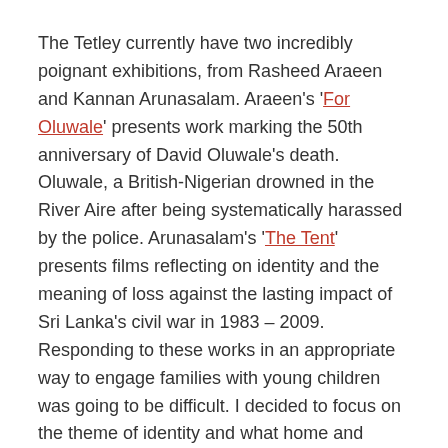The Tetley currently have two incredibly poignant exhibitions, from Rasheed Araeen and Kannan Arunasalam. Araeen's 'For Oluwale' presents work marking the 50th anniversary of David Oluwale's death. Oluwale, a British-Nigerian drowned in the River Aire after being systematically harassed by the police. Arunasalam's 'The Tent' presents films reflecting on identity and the meaning of loss against the lasting impact of Sri Lanka's civil war in 1983 – 2009.
Responding to these works in an appropriate way to engage families with young children was going to be difficult. I decided to focus on the theme of identity and what home and specifically Leeds, means to the participant.